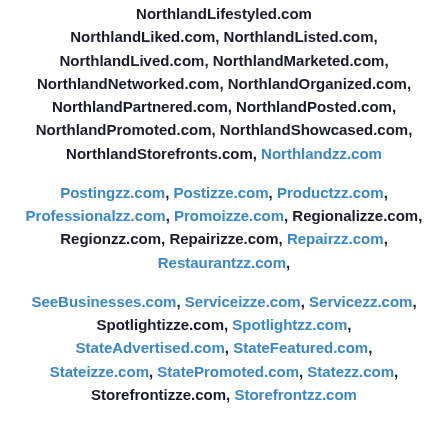NorthlandLifestyled.com NorthlandLiked.com, NorthlandListed.com, NorthlandLived.com, NorthlandMarketed.com, NorthlandNetworked.com, NorthlandOrganized.com, NorthlandPartnered.com, NorthlandPosted.com, NorthlandPromoted.com, NorthlandShowcased.com, NorthlandStorefronts.com, Northlandzz.com
Postingzz.com, Postizze.com, Productzz.com, Professionalzz.com, Promoizze.com, Regionalizze.com, Regionzz.com, Repairizze.com, Repairzz.com, Restaurantzz.com,
SeeBusinesses.com, Serviceizze.com, Servicezz.com, Spotlightizze.com, Spotlightzz.com, StateAdvertised.com, StateFeatured.com, Stateizze.com, StatePromoted.com, Statezz.com, Storefrontizze.com, Storefrontzz.com